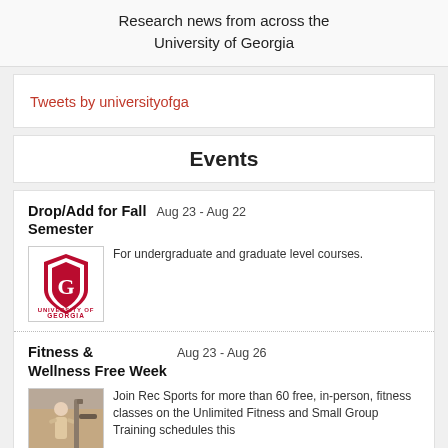Research news from across the University of Georgia
Tweets by universityofga
Events
Drop/Add for Fall Semester   Aug 23 - Aug 22
For undergraduate and graduate level courses.
Fitness & Wellness Free Week   Aug 23 - Aug 26
Join Rec Sports for more than 60 free, in-person, fitness classes on the Unlimited Fitness and Small Group Training schedules this week only.